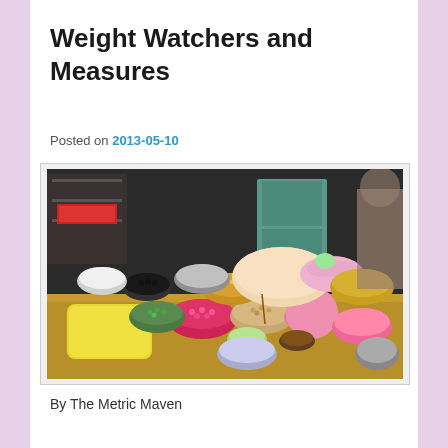Weight Watchers and Measures
Posted on 2013-05-10
[Figure (photo): A busy food market stall with many colorful bowls and containers filled with various foods including legumes, desserts, and ingredients. A large yellow rectangular container is prominent in the foreground. Various pastel-colored bowls and pink, green, and yellow food items are spread across a table.]
By The Metric Maven